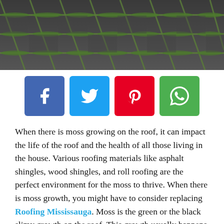[Figure (photo): Close-up photo of a roof covered with green moss growing between dark grey roofing tiles/shingles, viewed at an angle.]
[Figure (infographic): Four social media share buttons: Facebook (blue), Twitter (cyan), Pinterest (red), WhatsApp (green).]
When there is moss growing on the roof, it can impact the life of the roof and the health of all those living in the house. Various roofing materials like asphalt shingles, wood shingles, and roll roofing are the perfect environment for the moss to thrive. When there is moss growth, you might have to consider replacing Roofing Mississauga. Moss is the green or the black slimy growth on the roof. This growth usually happens due to prolonged waterlogging. If you have ever been bothered by moss growth and wondering what you can do to prevent or slow down the growth, read on.